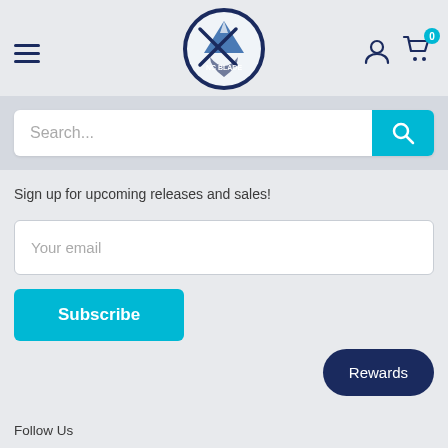[Figure (logo): NC Blade logo with mountain and crossed blades/swords on a circular badge]
Search...
Sign up for upcoming releases and sales!
Your email
Subscribe
Rewards
Follow Us